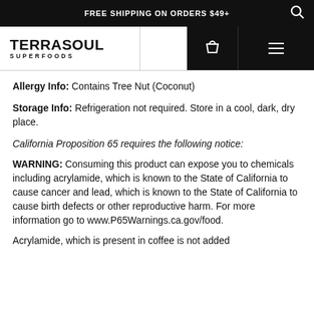FREE SHIPPING ON ORDERS $49+
[Figure (logo): Terrasoul Superfoods logo with shopping bag icon and hamburger menu]
Allergy Info: Contains Tree Nut (Coconut)
Storage Info: Refrigeration not required. Store in a cool, dark, dry place.
California Proposition 65 requires the following notice:
WARNING: Consuming this product can expose you to chemicals including acrylamide, which is known to the State of California to cause cancer and lead, which is known to the State of California to cause birth defects or other reproductive harm. For more information go to www.P65Warnings.ca.gov/food.
Acrylamide, which is present in coffee is not added